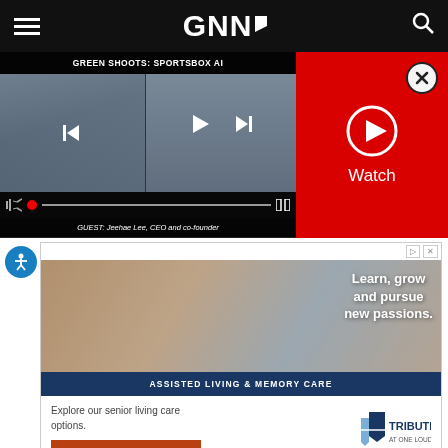GNNf — navigation bar with hamburger menu and search icon
[Figure (screenshot): Video player showing 'GREEN SHOOTS: SPORTSBOX AI' with two video frames — a woman on the left and a man on the right — with playback controls and caption: GUEST: Jeehae Lee, CEO and co-founder]
[Figure (other): Red panel with close (X) button and Watch button with play circle icon]
[Figure (photo): Advertisement banner: Learn, grow and pursue new passions. ASSISTED LIVING & MEMORY CARE. Explore our senior living care options. SCHEDULE A TOUR. Tribute at One Loudoun logo.]